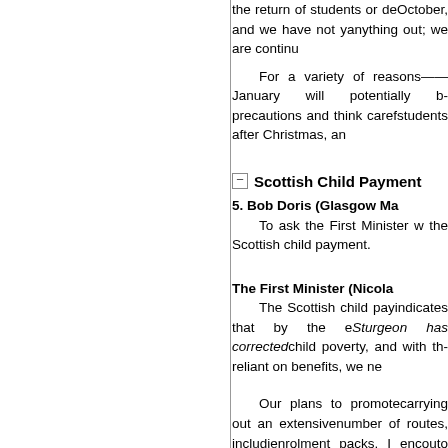the return of students or de October, and we have not yet anything out; we are continu
For a variety of reasons— —January will potentially b precautions and think caref students after Christmas, an
Scottish Child Payment
5. Bob Doris (Glasgow Ma To ask the First Minister w the Scottish child payment.
The First Minister (Nicola The Scottish child pay indicates that by the e Sturgeon has corrected child poverty, and with th reliant on benefits, we ne
Our plans to promote carrying out an extensive number of routes, includi enrolment packs. I encou to make sure that they ap